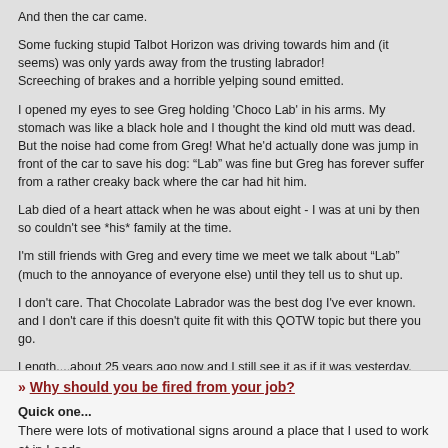And then the car came.
Some fucking stupid Talbot Horizon was driving towards him and (it seems) was only yards away from the trusting labrador! Screeching of brakes and a horrible yelping sound emitted.
I opened my eyes to see Greg holding 'Choco Lab' in his arms. My stomach was like a black hole and I thought the kind old mutt was dead. But the noise had come from Greg! What he'd actually done was jump in front of the car to save his dog: "Lab" was fine but Greg has forever suffer from a rather creaky back where the car had hit him.
Lab died of a heart attack when he was about eight - I was at uni by then so couldn't see *his* family at the time.
I'm still friends with Greg and every time we meet we talk about "Lab" (much to the annoyance of everyone else) until they tell us to shut up.
I don't care. That Chocolate Labrador was the best dog I've ever known. and I don't care if this doesn't quite fit with this QOTW topic but there you go.
Length....about 25 years ago now and I still see it as if it was yesterday.
(Fri 7th Dec 2007, 3:26, More)
» Why should you be fired from your job?
Quick one...
There were lots of motivational signs around a place that I used to work at in Leeds.